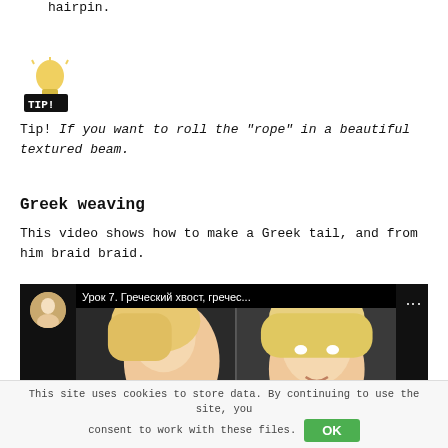hairpin.
[Figure (illustration): Light bulb tip icon with 'TIP!' label overlay in black box]
Tip! If you want to roll the “rope” in a beautiful textured beam.
Greek weaving
This video shows how to make a Greek tail, and from him braid braid.
[Figure (screenshot): YouTube video thumbnail showing Урок 7. Греческий хвост, гречес... with two blonde women's faces side by side]
This site uses cookies to store data. By continuing to use the site, you consent to work with these files. OK